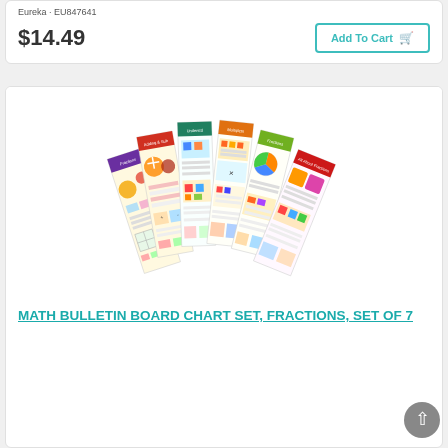Eureka · EU847641
$14.49
Add To Cart
[Figure (photo): A set of colorful math bulletin board charts fanned out, showing topics including fractions, addition, subtraction, multiplication on educational poster cards with headers in purple, red, orange, green, and blue.]
MATH BULLETIN BOARD CHART SET, FRACTIONS, SET OF 7